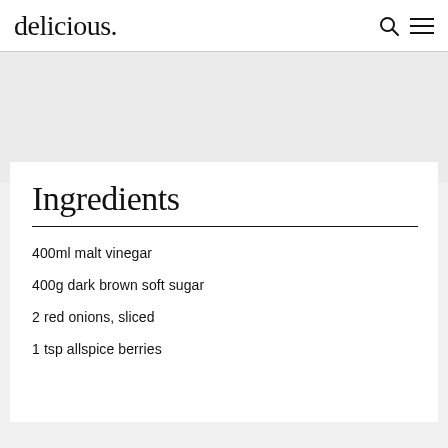delicious.
Ingredients
400ml malt vinegar
400g dark brown soft sugar
2 red onions, sliced
1 tsp allspice berries